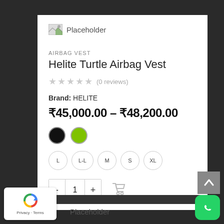[Figure (other): Placeholder product image with broken image icon]
AIRBAG VEST
Helite Turtle Airbag Vest
★★★★★ (0 reviews)
Brand: HELITE
₹45,000.00 – ₹48,200.00
[Figure (other): Color swatches: black and green circles]
[Figure (other): Size selector buttons: L, L-L, M, S, XL]
[Figure (other): Quantity selector with - 1 + buttons and cart icon]
[Figure (other): reCAPTCHA badge with recycle logo and Privacy - Terms text]
[Figure (other): Back to top arrow button]
[Figure (other): WhatsApp floating action button]
Placeholder